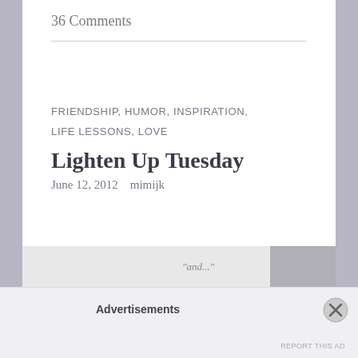36 Comments
FRIENDSHIP, HUMOR, INSPIRATION, LIFE LESSONS, LOVE
Lighten Up Tuesday
June 12, 2012   mimijk
[Figure (photo): Partial view of a photo at the bottom of the blog post]
Advertisements
REPORT THIS AD